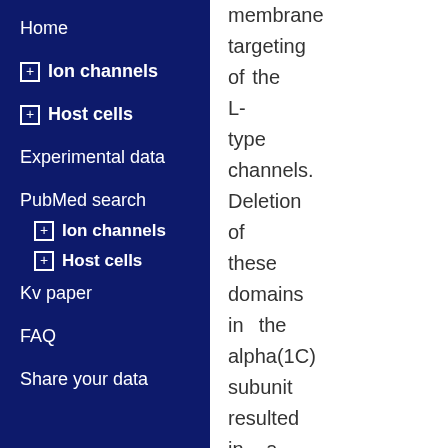Home
⊞ Ion channels
⊞ Host cells
Experimental data
PubMed search
⊞ Ion channels
⊞ Host cells
Kv paper
FAQ
Share your data
membrane targeting of the L-type channels. Deletion of these domains in the alpha(1C) subunit resulted in a reduction of plasma